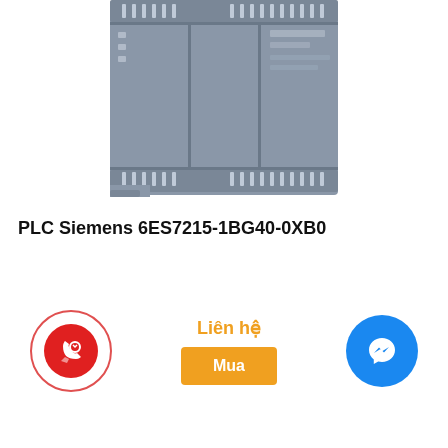[Figure (photo): Siemens S7-1200 PLC module (6ES7215-1BG40-0XB0) — top-down view of grey industrial control unit with terminal connectors]
PLC Siemens 6ES7215-1BG40-0XB0
Liên hệ
Mua